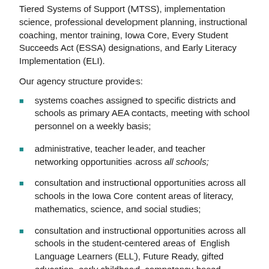Tiered Systems of Support (MTSS), implementation science, professional development planning, instructional coaching, mentor training, Iowa Core, Every Student Succeeds Act (ESSA) designations, and Early Literacy Implementation (ELI).
Our agency structure provides:
systems coaches assigned to specific districts and schools as primary AEA contacts, meeting with school personnel on a weekly basis;
administrative, teacher leader, and teacher networking opportunities across all schools;
consultation and instructional opportunities across all schools in the Iowa Core content areas of literacy, mathematics, science, and social studies;
consultation and instructional opportunities across all schools in the student-centered areas of English Language Learners (ELL), Future Ready, gifted education, early childhood, competency-based education, Career and Technical Education (CTE), school counseling, student events, classroom management, and equity;